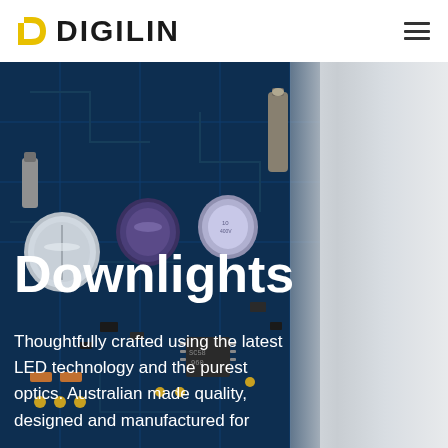[Figure (logo): Digilin logo with yellow D icon and bold black DIGILIN text]
[Figure (photo): Close-up photo of a blue PCB circuit board with capacitors, connectors and other electronic components]
Downlights
Thoughtfully crafted using the latest LED technology and the purest optics. Australian made quality, designed and manufactured for